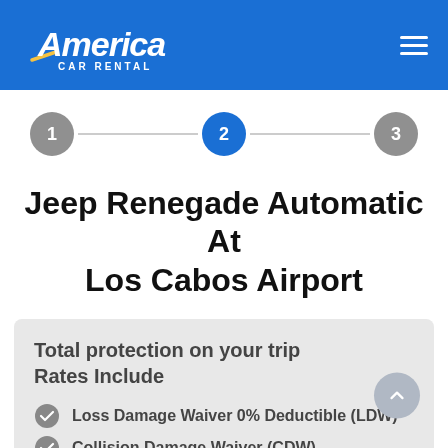America Car Rental
[Figure (infographic): Three-step progress indicator with steps 1, 2, 3. Step 2 is highlighted in blue, steps 1 and 3 are gray.]
Jeep Renegade Automatic At Los Cabos Airport
Total protection on your trip
Rates Include
Loss Damage Waiver 0% Deductible (LDW)
Collision Damage Waiver (CDW)